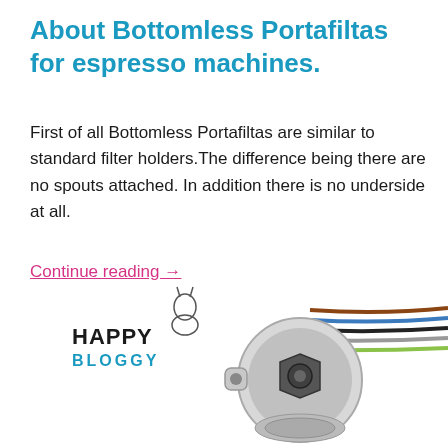About Bottomless Portafiltas for espresso machines.
First of all Bottomless Portafiltas are similar to standard filter holders.The difference being there are no spouts attached. In addition there is no underside at all.
Continue reading →
[Figure (logo): Happy Bloggy logo with stylized donkey/mule mascot next to the text HAPPY BLOGGY]
[Figure (photo): Bottom view of a bottomless portafilter with colored wires visible behind it on a white background]